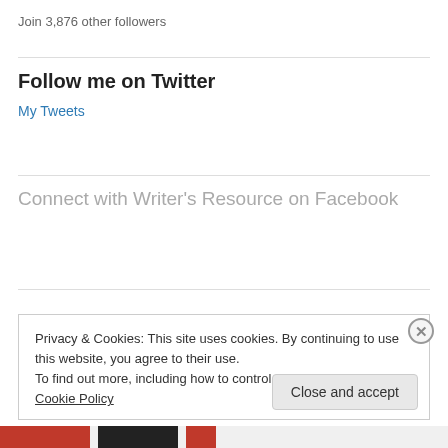Join 3,876 other followers
Follow me on Twitter
My Tweets
Connect with Writer's Resource on Facebook
Privacy & Cookies: This site uses cookies. By continuing to use this website, you agree to their use. To find out more, including how to control cookies, see here: Cookie Policy
Close and accept